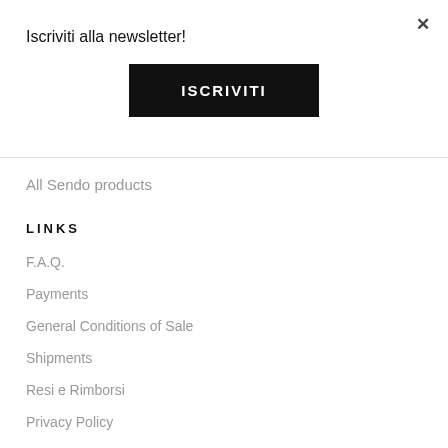×
Iscriviti alla newsletter!
ISCRIVITI
All Sendo products
LINKS
F.A.Q.
Payments
General Conditions of Sale
Shipments
Resi e Rimborsi
Privacy Policy